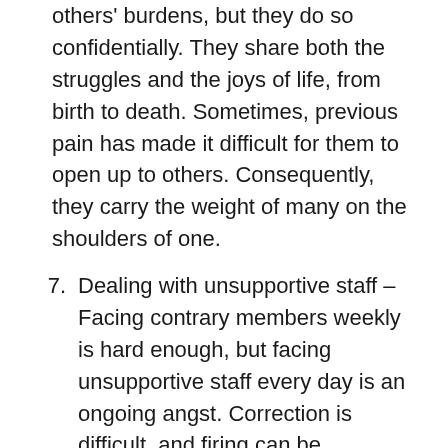others' burdens, but they do so confidentially. They share both the struggles and the joys of life, from birth to death. Sometimes, previous pain has made it difficult for them to open up to others. Consequently, they carry the weight of many on the shoulders of one.
7. Dealing with unsupportive staff – Facing contrary members weekly is hard enough, but facing unsupportive staff every day is an ongoing angst. Correction is difficult, and firing can be agonizing. Some pastors simply hope for change while not knowing the best next steps to take.